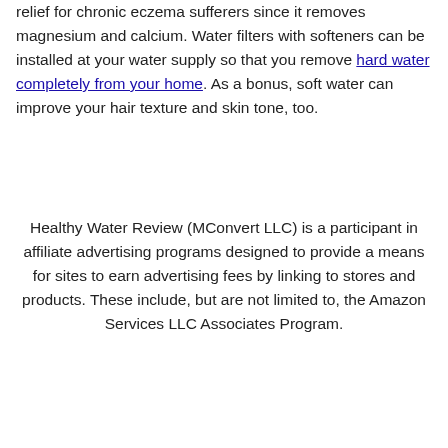relief for chronic eczema sufferers since it removes magnesium and calcium. Water filters with softeners can be installed at your water supply so that you remove hard water completely from your home. As a bonus, soft water can improve your hair texture and skin tone, too.
Healthy Water Review (MConvert LLC) is a participant in affiliate advertising programs designed to provide a means for sites to earn advertising fees by linking to stores and products. These include, but are not limited to, the Amazon Services LLC Associates Program.